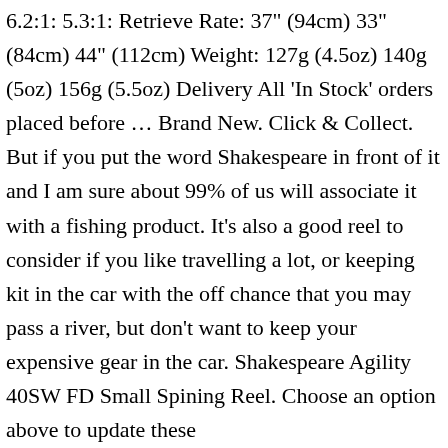6.2:1: 5.3:1: Retrieve Rate: 37" (94cm) 33" (84cm) 44" (112cm) Weight: 127g (4.5oz) 140g (5oz) 156g (5.5oz) Delivery All 'In Stock' orders placed before … Brand New. Click & Collect. But if you put the word Shakespeare in front of it and I am sure about 99% of us will associate it with a fishing product. It's also a good reel to consider if you like travelling a lot, or keeping kit in the car with the off chance that you may pass a river, but don't want to keep your expensive gear in the car. Shakespeare Agility 40SW FD Small Spining Reel. Choose an option above to update these